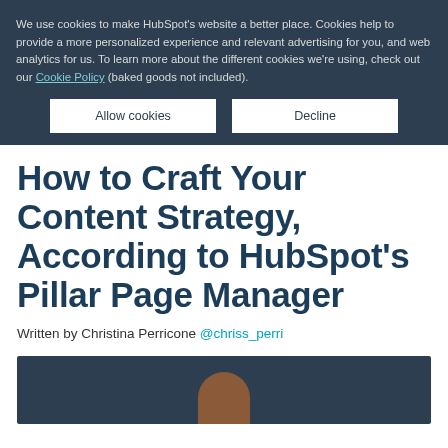We use cookies to make HubSpot's website a better place. Cookies help to provide a more personalized experience and relevant advertising for you, and web analytics for us. To learn more about the different cookies we're using, check out our Cookie Policy (baked goods not included).
Allow cookies | Decline
How to Craft Your Content Strategy, According to HubSpot's Pillar Page Manager
Written by Christina Perricone @chriss_perri
[Figure (photo): Dark blue hero image area with a partial view of a person's head at the bottom center]